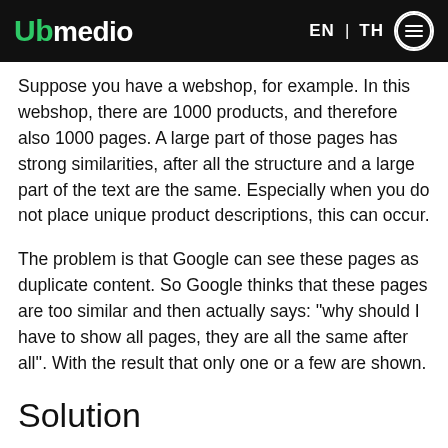upmedio EN | TH
Suppose you have a webshop, for example. In this webshop, there are 1000 products, and therefore also 1000 pages. A large part of those pages has strong similarities, after all the structure and a large part of the text are the same. Especially when you do not place unique product descriptions, this can occur.
The problem is that Google can see these pages as duplicate content. So Google thinks that these pages are too similar and then actually says: "why should I have to show all pages, they are all the same after all". With the result that only one or a few are shown.
Solution
Make sure that every page on your website has enough unique content!